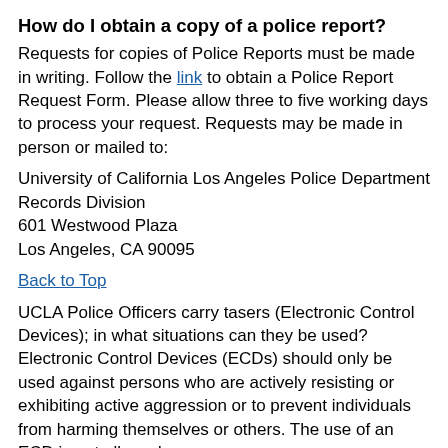How do I obtain a copy of a police report?
Requests for copies of Police Reports must be made in writing. Follow the link to obtain a Police Report Request Form. Please allow three to five working days to process your request. Requests may be made in person or mailed to:
University of California Los Angeles Police Department Records Division
601 Westwood Plaza
Los Angeles, CA 90095
Back to Top
UCLA Police Officers carry tasers (Electronic Control Devices); in what situations can they be used?
Electronic Control Devices (ECDs) should only be used against persons who are actively resisting or exhibiting active aggression or to prevent individuals from harming themselves or others. The use of an ECD is not allowed on